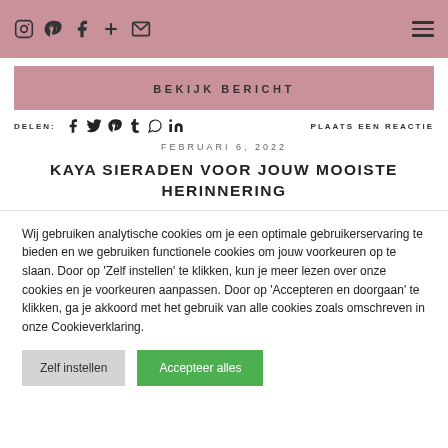Social icons: Instagram, Pinterest, Facebook, Plus, Email | Hamburger menu
[Figure (infographic): Pink banner with text BEKIJK BERICHT]
DELEN: [Facebook, Twitter, Pinterest, Tumblr, WhatsApp, LinkedIn icons] PLAATS EEN REACTIE
FEBRUARI 6, 2022
KAYA SIERADEN VOOR JOUW MOOISTE HERINNERING
Wij gebruiken analytische cookies om je een optimale gebruikerservaring te bieden en we gebruiken functionele cookies om jouw voorkeuren op te slaan. Door op 'Zelf instellen' te klikken, kun je meer lezen over onze cookies en je voorkeuren aanpassen. Door op 'Accepteren en doorgaan' te klikken, ga je akkoord met het gebruik van alle cookies zoals omschreven in onze Cookieverklaring.
Zelf instellen | Accepteer alles